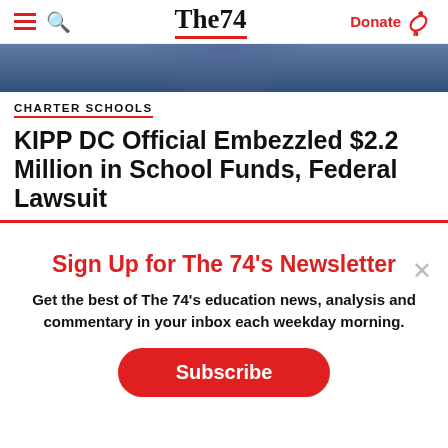The74 — Donate
[Figure (photo): Partial photo of a person in a blue shirt, cropped to top portion only]
CHARTER SCHOOLS
KIPP DC Official Embezzled $2.2 Million in School Funds, Federal Lawsuit
Sign Up for The 74's Newsletter
Get the best of The 74's education news, analysis and commentary in your inbox each weekday morning.
Subscribe